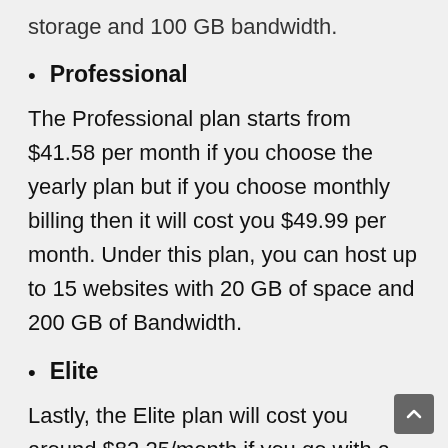storage and 100 GB bandwidth.
Professional
The Professional plan starts from $41.58 per month if you choose the yearly plan but if you choose monthly billing then it will cost you $49.99 per month. Under this plan, you can host up to 15 websites with 20 GB of space and 200 GB of Bandwidth.
Elite
Lastly, the Elite plan will cost you around $82.25/month if you go with a yearly plan but